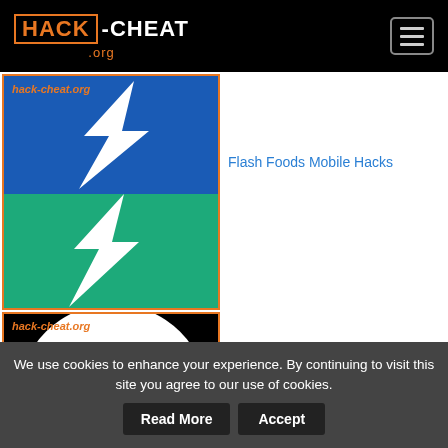HACK-CHEAT.org
[Figure (logo): Hack-cheat.org logo with lightning bolt on blue and green background]
Flash Foods Mobile Hacks
[Figure (logo): Hack-cheat.org logo with colorful W letter on white circle, black background]
Instant Website Builder With Store:
We use cookies to enhance your experience. By continuing to visit this site you agree to our use of cookies.